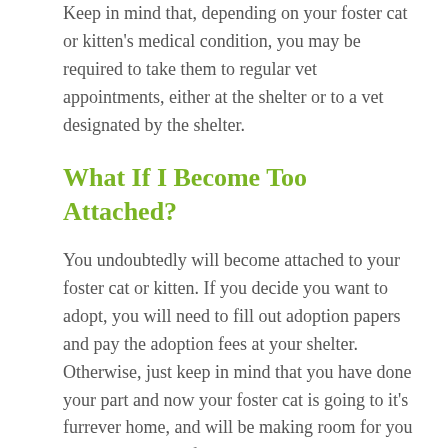Keep in mind that, depending on your foster cat or kitten's medical condition, you may be required to take them to regular vet appointments, either at the shelter or to a vet designated by the shelter.
What If I Become Too Attached?
You undoubtedly will become attached to your foster cat or kitten. If you decide you want to adopt, you will need to fill out adoption papers and pay the adoption fees at your shelter. Otherwise, just keep in mind that you have done your part and now your foster cat is going to it's furrever home, and will be making room for you to accept another foster cat into your home.
Nothing compares to the rewarding feeling of